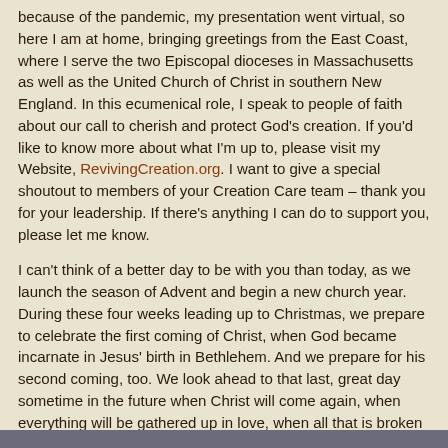because of the pandemic, my presentation went virtual, so here I am at home, bringing greetings from the East Coast, where I serve the two Episcopal dioceses in Massachusetts as well as the United Church of Christ in southern New England.  In this ecumenical role, I speak to people of faith about our call to cherish and protect God's creation.  If you'd like to know more about what I'm up to, please visit my Website, RevivingCreation.org.  I want to give a special shoutout to members of your Creation Care team – thank you for your leadership.  If there's anything I can do to support you, please let me know.
I can't think of a better day to be with you than today, as we launch the season of Advent and begin a new church year.  During these four weeks leading up to Christmas, we prepare to celebrate the first coming of Christ, when God became incarnate in Jesus' birth in Bethlehem. And we prepare for his second coming, too. We look ahead to that last, great day sometime in the future when Christ will come again, when everything will be gathered up in love, when all that is broken will be healed, all that is estranged will be reconciled and forgiven, and the Lord of life will return at last to reign in glory.